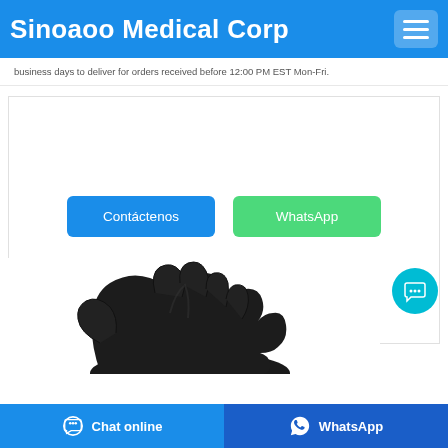Sinoaoo Medical Corp
business days to deliver for orders received before 12:00 PM EST Mon-Fri.
[Figure (illustration): Two buttons: 'Contáctenos' (blue) and 'WhatsApp' (green)]
[Figure (photo): Black nitrile medical glove shown from the palm side]
Chat online | WhatsApp